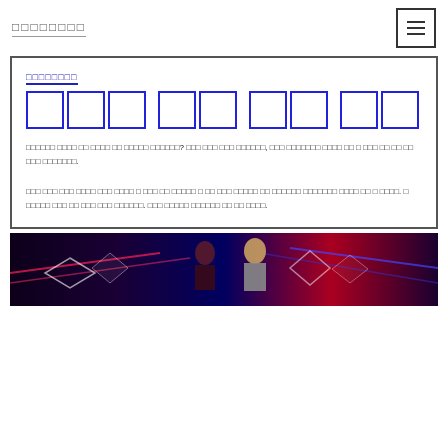□□□□□□□□
□□□□□□□□
□□□ □□ □□ □□
□□□□□□ □□□□ □□ □□□□ □□ □□□□□ □□□□□□? □□□ □□□ □□□ □□□□□□, □□□ □□□□□□□ □□□□ □□ □ □□□ □□ □□ □□ □□□ □□□□□□□.
□□□ □□□ □□□ □□□□ □□□ □□□□ □ □□□ □□ □□□□□ □ □□ □□□ □□□□□ □□ □□□□□□ □□□□□□□ □□□□ □□ □ □□□□. □ □□□□□ □□□ □□ □□□ □□□ □□□□□□. □□□ □□□□□ □□□□□□ □□ □□ □□□□.
[Figure (photo): Entertainment show stage photo with people and colorful lighting in red, blue and purple tones with geometric diamond shapes in background]